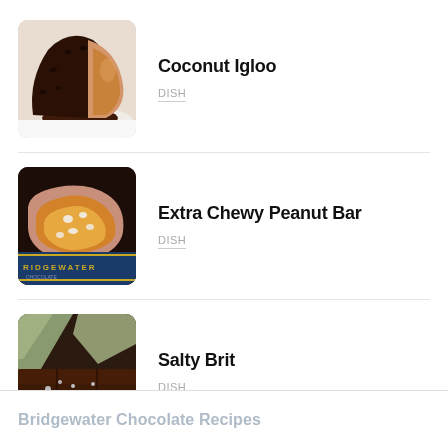[Figure (photo): Coconut Igloo chocolate dessert, cut open showing peanut butter interior, coated in chocolate and coconut]
Coconut Igloo
DISH
[Figure (photo): Extra Chewy Peanut Bar chocolate candy, cut open showing caramel and peanut interior, on Bridgewater Chocolate packaging]
Extra Chewy Peanut Bar
DISH
[Figure (photo): Salty Brit chocolate bar with white salt crystals on dark chocolate surface]
Salty Brit
DISH
Bridgewater Chocolate Recipes